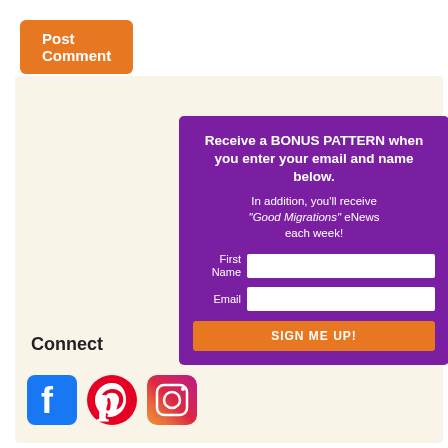[Figure (screenshot): Orange 'Post Comment' button at top left]
[Figure (screenshot): Purple signup box with headline 'Receive a BONUS PATTERN when you enter your email and name below.' and form fields for First Name and Email, with orange SIGN ME UP! button]
Connect
[Figure (logo): Facebook, Pinterest, and Instagram social media icons]